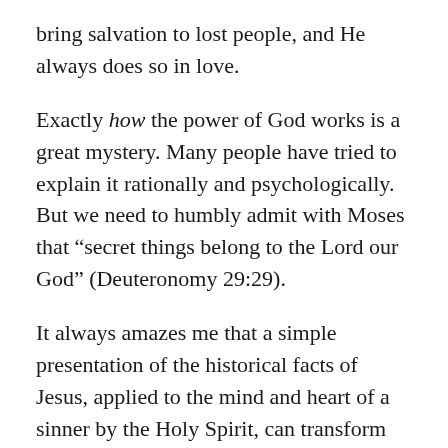bring salvation to lost people, and He always does so in love.
Exactly how the power of God works is a great mystery. Many people have tried to explain it rationally and psychologically. But we need to humbly admit with Moses that “secret things belong to the Lord our God” (Deuteronomy 29:29).
It always amazes me that a simple presentation of the historical facts of Jesus, applied to the mind and heart of a sinner by the Holy Spirit, can transform that person. On the other hand, one can recite the achievements of great human leaders like Abraham Lincoln and Alexander Solzhenitsyn and nothing will change in the hearts of lost...